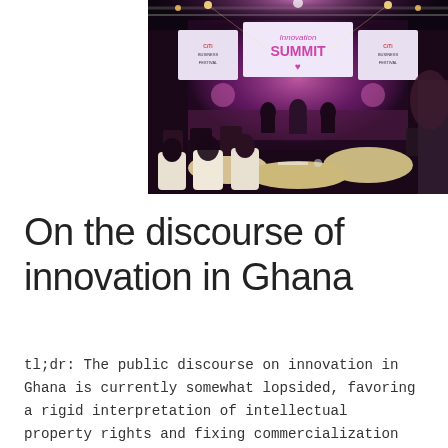[Figure (photo): A conference hall scene at an Innovation Summit with Citi Business Festival branding. Audience members are seated at round tables facing a stage with a pink/purple lit backdrop showing 'Innovation SUMMIT' banner and Citi Business Festival logos on screens. Stage lighting rigs visible above.]
On the discourse of innovation in Ghana
tl;dr: The public discourse on innovation in Ghana is currently somewhat lopsided, favoring a rigid interpretation of intellectual property rights and fixing commercialization as the measure of impact. I recommend a more flexible approach that includes open source and